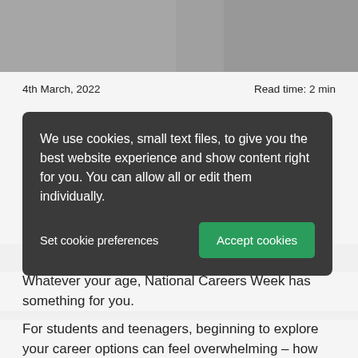[Figure (photo): Top banner image, partially visible, gray background]
4th March, 2022
Read time: 2 min
N...
We use cookies, small text files, to give you the best website experience and show content right for you. You can allow all or edit them individually.
Set cookie preferences
Accept cookies
Whatever your age, National Careers Week has something for you.
For students and teenagers, beginning to explore your career options can feel overwhelming – how do you know